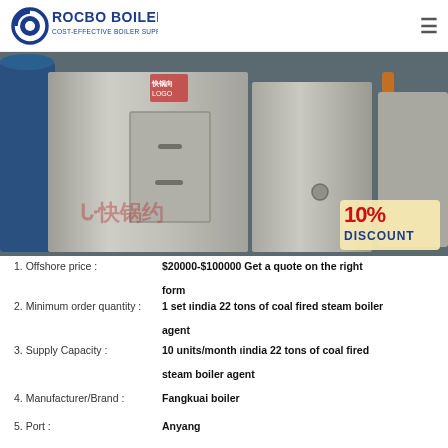ROCBO BOILER - COST-EFFECTIVE BOILER SUPPLIER
[Figure (photo): Industrial boiler equipment photo showing stainless steel boiler units in a factory setting with a 10% DISCOUNT badge overlay and Chinese watermark text]
1. Offshore price : $20000-$100000 Get a quote on the right form
2. Minimum order quantity : 1 set ıindia 22 tons of coal fired steam boiler agent
3. Supply Capacity : 10 units/month ıindia 22 tons of coal fired steam boiler agent
4. Manufacturer/Brand : Fangkuai boiler
5. Port : Anyang